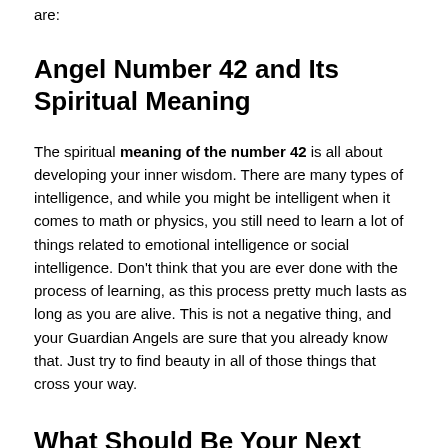are:
Angel Number 42 and Its Spiritual Meaning
The spiritual meaning of the number 42 is all about developing your inner wisdom. There are many types of intelligence, and while you might be intelligent when it comes to math or physics, you still need to learn a lot of things related to emotional intelligence or social intelligence. Don't think that you are ever done with the process of learning, as this process pretty much lasts as long as you are alive. This is not a negative thing, and your Guardian Angels are sure that you already know that. Just try to find beauty in all of those things that cross your way.
What Should Be Your Next